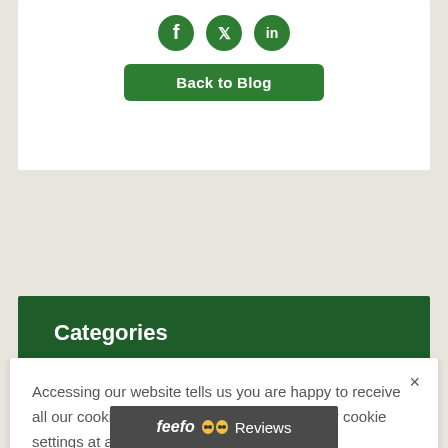[Figure (illustration): Social media icons (Facebook, Twitter, LinkedIn) in dark green circular style at top of white card]
Back to Blog
Categories
Accessing our website tells us you are happy to receive all our cookies. However you can change your cookie settings at any time. Find out more.
ACCEPT & CLOSE
[Figure (logo): Feefo logo with yellow glasses icon and Reviews text on dark grey bar]